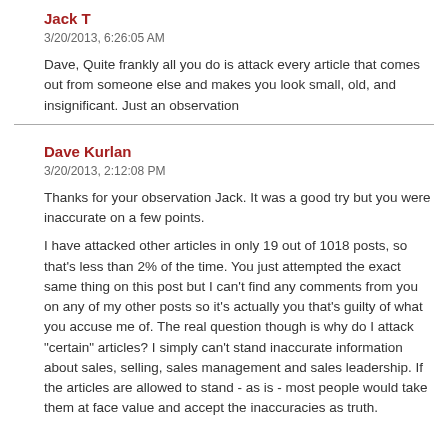Jack T
3/20/2013, 6:26:05 AM
Dave, Quite frankly all you do is attack every article that comes out from someone else and makes you look small, old, and insignificant. Just an observation
Dave Kurlan
3/20/2013, 2:12:08 PM
Thanks for your observation Jack. It was a good try but you were inaccurate on a few points.
I have attacked other articles in only 19 out of 1018 posts, so that's less than 2% of the time. You just attempted the exact same thing on this post but I can't find any comments from you on any of my other posts so it's actually you that's guilty of what you accuse me of. The real question though is why do I attack "certain" articles? I simply can't stand inaccurate information about sales, selling, sales management and sales leadership. If the articles are allowed to stand - as is - most people would take them at face value and accept the inaccuracies as truth.